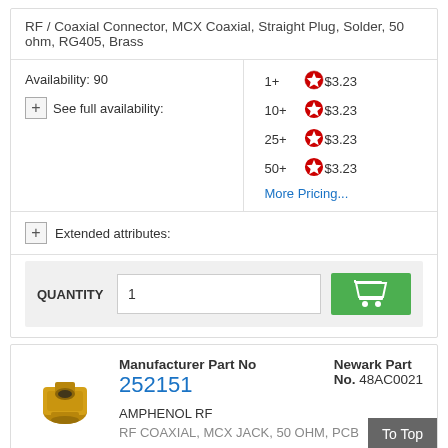RF / Coaxial Connector, MCX Coaxial, Straight Plug, Solder, 50 ohm, RG405, Brass
| Availability | Pricing |
| --- | --- |
| Availability: 90 | 1+  $3.23 |
| See full availability: | 10+  $3.23 |
|  | 25+  $3.23 |
|  | 50+  $3.23 |
|  | More Pricing... |
Extended attributes:
QUANTITY  1
| Manufacturer Part No | Newark Part No. |
| --- | --- |
| 252151 | 48AC0021 |
| AMPHENOL RF |  |
| RF COAXIAL, MCX JACK, 50 OHM, PCB |  |